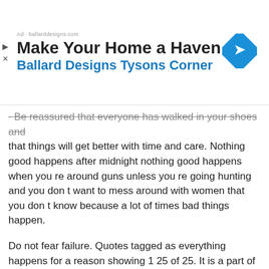[Figure (screenshot): Advertisement banner: Make Your Home a Haven - Ballard Designs Tysons Corner with a blue diamond navigation/direction icon on the right. Small play and close icons on the left side.]
Be reassured that everyone has walked in your shoes and that things will get better with time and care. Nothing good happens after midnight nothing good happens when you re around guns unless you re going hunting and you don t want to mess around with women that you don t know because a lot of times bad things happen.
Do not fear failure. Quotes tagged as everything happens for a reason showing 1 25 of 25. It is a part of your journey to finding your way to success.
Bad things happen to everyone. Everything happens for a reason quotes. 18 quotes have been tagged as bad things happen.
With experience you become wiser you and you will realize that sometimes bad things happen for a reason. And somehow you will realize that...